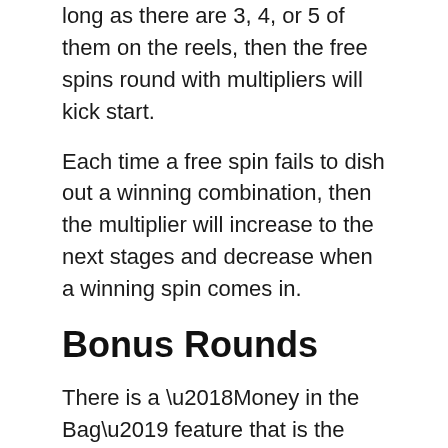long as there are 3, 4, or 5 of them on the reels, then the free spins round with multipliers will kick start.
Each time a free spin fails to dish out a winning combination, then the multiplier will increase to the next stages and decrease when a winning spin comes in.
Bonus Rounds
There is a ‘Money in the Bag’ feature that is the bonus on Weird Wicked and Wild. These are stacked symbols on the reels. When 2, 3 or 4 of these stacks turn up from left to right, then the bonus prize for 3, 4 or 5 ‘Money Bags’ respectively will be depicted at the top of the screen.
When you win the prize, they will already be multiplied by the bet multiplayer. Your bet multiplier will be shown on the reel control panel where you configure your bet amounts.